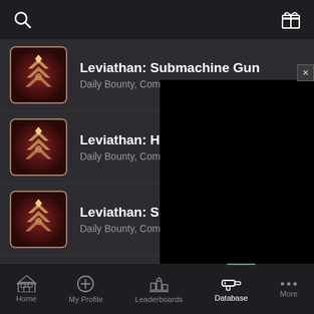[Figure (screenshot): Mobile app screenshot showing a database list of Destiny game bounties with Leviathan-themed icons and a bottom navigation bar]
Leviathan: Submachine Gun
Daily Bounty, Common
Leviathan: Hand Cannons
Daily Bounty, Common
Leviathan: Sidearms
Daily Bounty, Common
Leviathan: Solar
Daily Bounty, Common